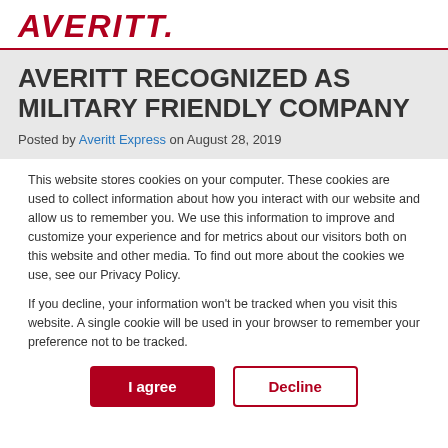[Figure (logo): Averitt logo in bold red italic text]
AVERITT RECOGNIZED AS MILITARY FRIENDLY COMPANY
Posted by Averitt Express on August 28, 2019
This website stores cookies on your computer. These cookies are used to collect information about how you interact with our website and allow us to remember you. We use this information to improve and customize your experience and for metrics about our visitors both on this website and other media. To find out more about the cookies we use, see our Privacy Policy.
If you decline, your information won't be tracked when you visit this website. A single cookie will be used in your browser to remember your preference not to be tracked.